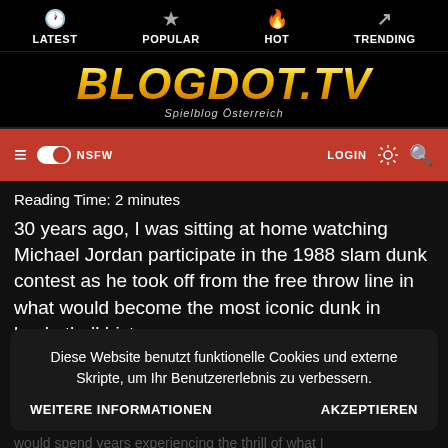LATEST  POPULAR  HOT  TRENDING
[Figure (logo): BLOGDOT.TV logo with golden metallic italic text and subtitle 'Spielblog Österreich']
≡  NSFW  LOGIN  🔍
Reading Time: 2 minutes
30 years ago, I was sitting at home watching Michael Jordan participate in the 1988 slam dunk contest as he took off from the free throw line in what would become the most iconic dunk in basketball history.
Diese Website benutzt funktionelle Cookies und externe Skripte, um Ihr Benutzererlebnis zu verbessern.
WEITERE INFORMATIONEN    AKZEPTIEREN
would spend years experiencing the thrill of what I